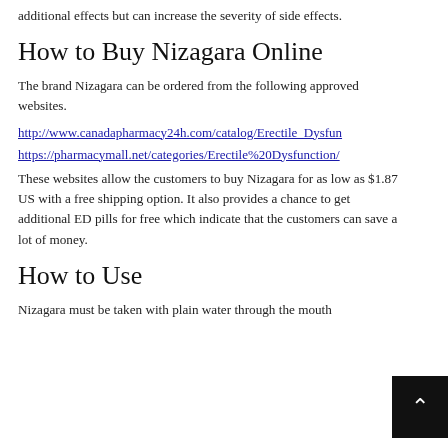additional effects but can increase the severity of side effects.
How to Buy Nizagara Online
The brand Nizagara can be ordered from the following approved websites.
http://www.canadapharmacy24h.com/catalog/Erectile_Dysfun
https://pharmacymall.net/categories/Erectile%20Dysfunction/
These websites allow the customers to buy Nizagara for as low as $1.87 US with a free shipping option. It also provides a chance to get additional ED pills for free which indicate that the customers can save a lot of money.
How to Use
Nizagara must be taken with plain water through the mouth